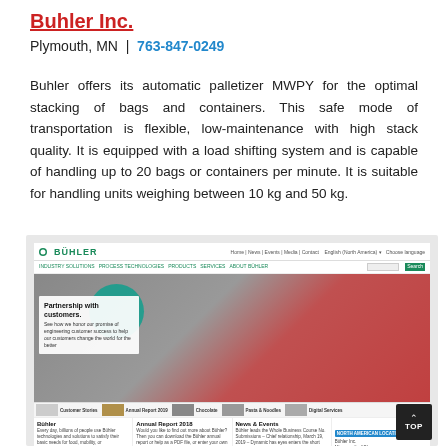Buhler Inc.
Plymouth, MN  |  763-847-0249
Buhler offers its automatic palletizer MWPY for the optimal stacking of bags and containers. This safe mode of transportation is flexible, low-maintenance with high stack quality. It is equipped with a load shifting system and is capable of handling up to 20 bags or containers per minute. It is suitable for handling units weighing between 10 kg and 50 kg.
[Figure (screenshot): Screenshot of the Buhler Inc. website showing the Buhler logo, navigation menu with Industry Solutions, Process Technologies, Products, Services, About Buhler. Hero image shows a woman in a pink hijab with text 'Partnership with customers. See how we honor our promise of engineering customer success to help our customers change the world for the better.' Below are sections for Buhler, Annual Report 2018, News & Events, and North American Locations. A 'TOP' button appears at bottom right.]